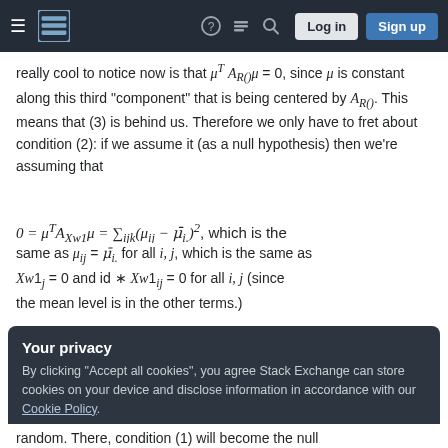Stack Exchange navigation bar with hamburger, logo, help, review, search icons, Log in and Sign up buttons
really cool to notice now is that μᵀA_R()μ = 0, since μ is constant along this third "component" that is being centered by A_R(). This means that (3) is behind us. Therefore we only have to fret about condition (2): if we assume it (as a null hypothesis) then we're assuming that
, which is the same as μ_ij = μ̄_i. for all i, j, which is the same as Xw1_j = 0 and id * Xw1_ij = 0 for all i, j (since the mean level is in the other terms.)
Your privacy
By clicking "Accept all cookies", you agree Stack Exchange can store cookies on your device and disclose information in accordance with our Cookie Policy.
Accept all cookies   Customize settings
random. There, condition (1) will become the null